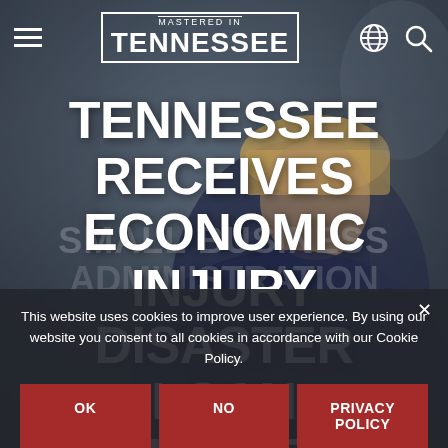[Figure (photo): Background photo of a worker/craftsman wearing an orange cap and dark blue t-shirt, working in what appears to be a workshop or industrial setting. Dark overlay applied.]
MASTERED IN TENNESSEE (logo with hamburger menu and globe/search icons)
TENNESSEE RECEIVES ECONOMIC INJURY DISASTER LOAN DECLARATION FROM US
SMALL BUSINESS ADMINISTRATION (watermark)
This website uses cookies to improve user experience. By using our website you consent to all cookies in accordance with our Cookie Policy.
OK
NO
PRIVACY POLICY